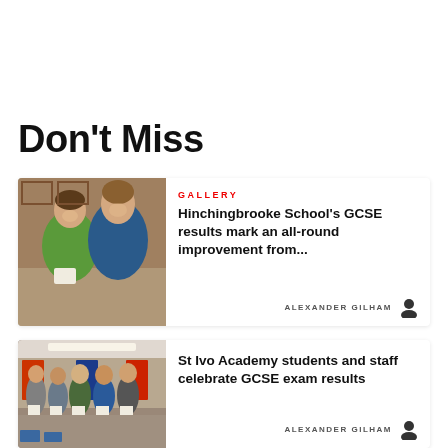Don't Miss
[Figure (photo): Two teenage boys smiling and holding papers, wearing jackets, indoors with wooden panelling in background]
GALLERY
Hinchingbrooke School's GCSE results mark an all-round improvement from...
ALEXANDER GILHAM
[Figure (photo): Group of students and staff standing indoors holding papers/certificates, school banners visible in background]
St Ivo Academy students and staff celebrate GCSE exam results
ALEXANDER GILHAM